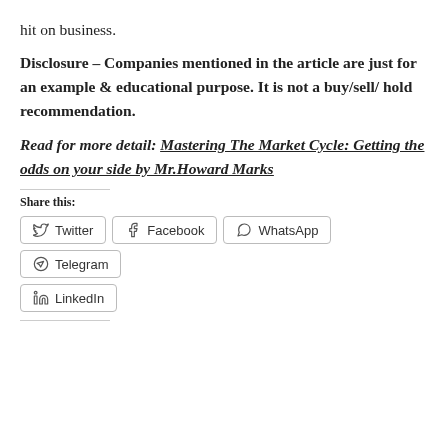hit on business.
Disclosure – Companies mentioned in the article are just for an example & educational purpose. It is not a buy/sell/ hold recommendation.
Read for more detail: Mastering The Market Cycle: Getting the odds on your side by Mr.Howard Marks
Share this:
Twitter  Facebook  WhatsApp  Telegram  LinkedIn